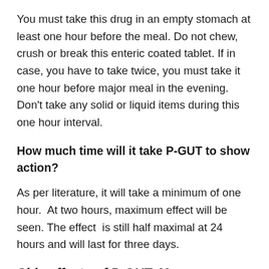You must take this drug in an empty stomach at least one hour before the meal. Do not chew, crush or break this enteric coated tablet. If in case, you have to take twice, you must take it one hour before major meal in the evening. Don't take any solid or liquid items during this one hour interval.
How much time will it take P-GUT to show action?
As per literature, it will take a minimum of one hour. At two hours, maximum effect will be seen. The effect is still half maximal at 24 hours and will last for three days.
Side effects of P-GUT 40mg